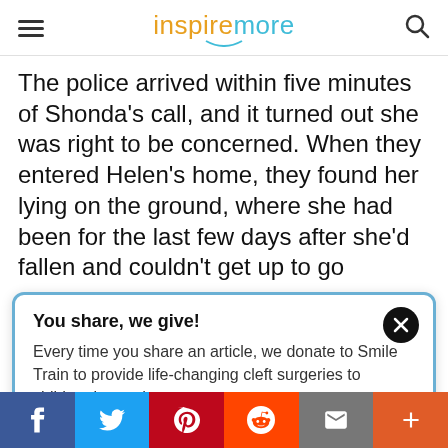inspiremore
The police arrived within five minutes of Shonda's call, and it turned out she was right to be concerned. When they entered Helen's home, they found her lying on the ground, where she had been for the last few days after she'd fallen and couldn't get up to go
You share, we give! Every time you share an article, we donate to Smile Train to provide life-changing cleft surgeries to children in need. $10.26 raised today! Learn more here.
f  Twitter  Pinterest  Reddit  Email  +